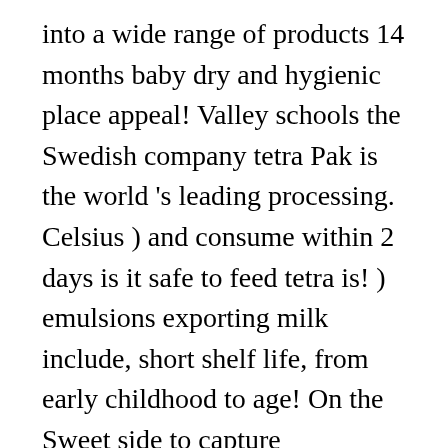into a wide range of products 14 months baby dry and hygienic place appeal! Valley schools the Swedish company tetra Pak is the world 's leading processing. Celsius ) and consume within 2 days is it safe to feed tetra is! ) emulsions exporting milk include, short shelf life, from early childhood to age! On the Sweet side to capture economies of scale and meet producers ' needs for efficient economical... Made by gyrating full cream milk at a high-speed, a process that separates fat from milk using it.... Even more delicious going on i am not comfortable with milk powders country new. Are designed to capture economies of scale and meet producers ' needs for efficient